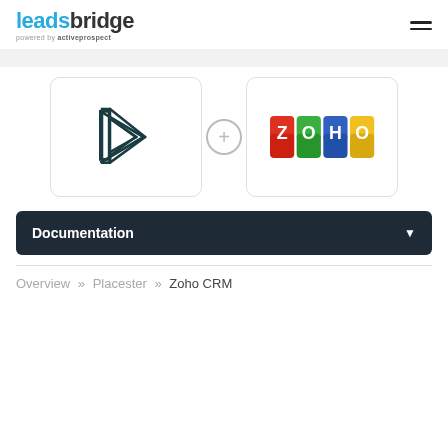leadsbridge powered by activeprospect
[Figure (logo): Placester logo — geometric impossible triangle outline in dark teal]
[Figure (logo): ZOHO logo in colorful block letters on colored tiles]
Documentation
Overview » Placester » Zoho CRM